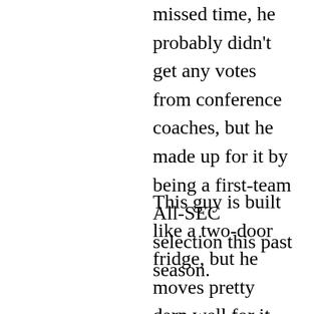missed time, he probably didn't get any votes from conference coaches, but he made up for it by being a first-team All-SEC selection this past season.
This guy is built like a two-door fridge, but he moves pretty darn well for it. Brown in general plays with good knee-bend and pad-level. He delivers massive blows at initial contact, and buries some nose-tackles underneath himself. He created a ton of vertical movement on combo-blocks at the point of attack, together with center Landon Dickerson, while having put a lot of big bodies on the ground when